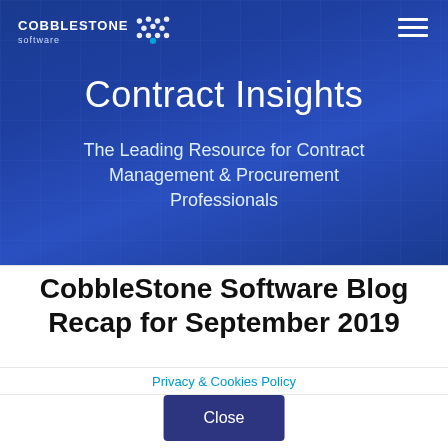[Figure (screenshot): CobbleStone Software logo with text and grid dots on dark blue banner background]
Contract Insights
The Leading Resource for Contract Management & Procurement Professionals
CobbleStone Software Blog Recap for September 2019
Privacy & Cookies Policy
Close